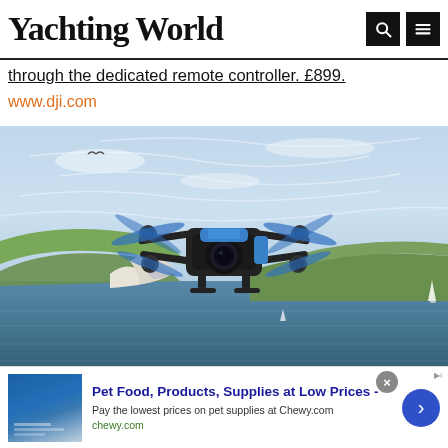Yachting World
through the dedicated remote controller. £899.
www.dji.com
[Figure (photo): A blue quadcopter drone flying in the air with coastal cliffs, green headland, sea and boats visible in the background under a blue sky with light cloud streaks.]
Pet Food, Products, Supplies at Low Prices - Pay the lowest prices on pet supplies at Chewy.com chewy.com